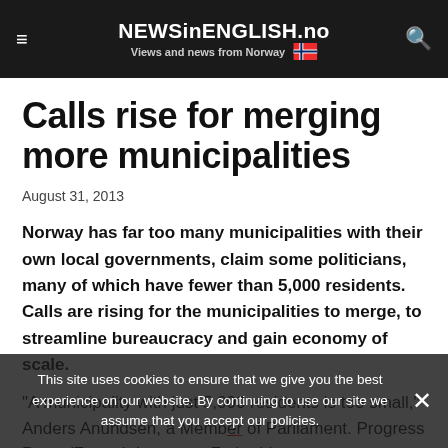NEWSinENGLISH.no – Views and news from Norway
Calls rise for merging more municipalities
August 31, 2013
Norway has far too many municipalities with their own local governments, claim some politicians, many of which have fewer than 5,000 residents. Calls are rising for the municipalities to merge, to streamline bureaucracy and gain economy of scale.
"A municipality with just 5,000 residents is too small," Anders Anundsen, a Member of Parliament. Progress Party (Fremskrittspartet, Frp) told newspaper Dagsavisen last week. Anundsen and several other colleagues on the non-
This site uses cookies to ensure that we give you the best experience on our website. By continuing to use our site we assume that you accept our policies.